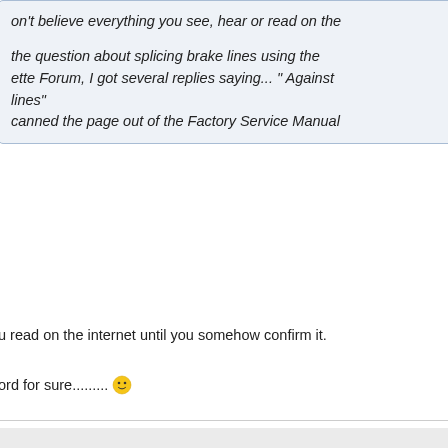on't believe everything you see, hear or read on the
the question about splicing brake lines using the ette Forum, I got several replies saying... " Against lines" canned the page out of the Factory Service Manual
u read on the internet until you somehow confirm it.
ord for sure.........😊
Reply With Quote
#5
Join Date:
Location:
Posts:
Dec 2011
New Haven, Ct
992